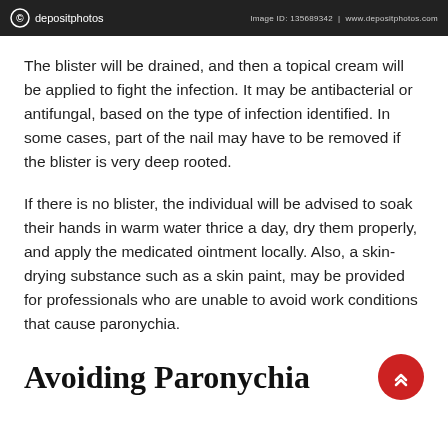depositphotos | Image ID: 135689342 | www.depositphotos.com
The blister will be drained, and then a topical cream will be applied to fight the infection. It may be antibacterial or antifungal, based on the type of infection identified. In some cases, part of the nail may have to be removed if the blister is very deep rooted.
If there is no blister, the individual will be advised to soak their hands in warm water thrice a day, dry them properly, and apply the medicated ointment locally. Also, a skin-drying substance such as a skin paint, may be provided for professionals who are unable to avoid work conditions that cause paronychia.
Avoiding Paronychia